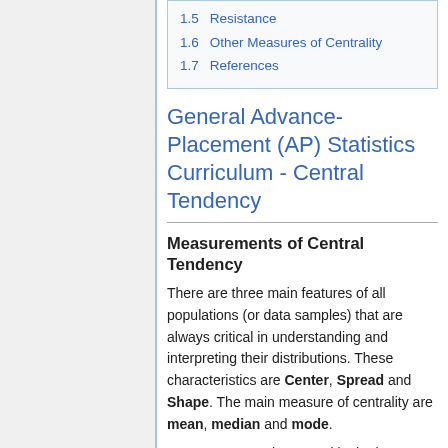1.5 Resistance
1.6 Other Measures of Centrality
1.7 References
General Advance-Placement (AP) Statistics Curriculum - Central Tendency
Measurements of Central Tendency
There are three main features of all populations (or data samples) that are always critical in understanding and interpreting their distributions. These characteristics are Center, Spread and Shape. The main measure of centrality are mean, median and mode.
Suppose we are interested in the long-